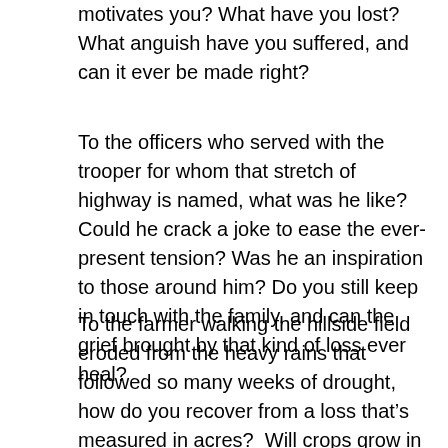motivates you? What have you lost? What anguish have you suffered, and can it ever be made right?
To the officers who served with the trooper for whom that stretch of highway is named, what was he like? Could he crack a joke to ease the ever-present tension? Was he an inspiration to those around him? Do you still keep in touch with the family, and can the grief brought by that kind of loss ever heal?
To the farmer walking the hillside field eroded from the heavy rains that followed so many weeks of drought, how do you recover from a loss that’s measured in acres?  Will crops grow in soil that won’t be revitalized in your lifetime? Can a chemical spray truly negate the damage?